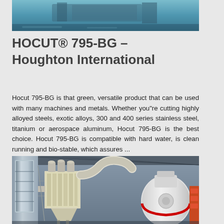[Figure (photo): Top partial image of industrial machinery or equipment, cropped at top of page]
HOCUT® 795-BG – Houghton International
Hocut 795-BG is that green, versatile product that can be used with many machines and metals. Whether you"re cutting highly alloyed steels, exotic alloys, 300 and 400 series stainless steel, titanium or aerospace aluminum, Hocut 795-BG is the best choice. Hocut 795-BG is compatible with hard water, is clean running and bio-stable, which assures ...
[Figure (photo): Industrial facility showing white filter/dust collection unit with cylindrical filters on top, connected ductwork, and a large white grinding mill machine on the right, inside a covered industrial building]